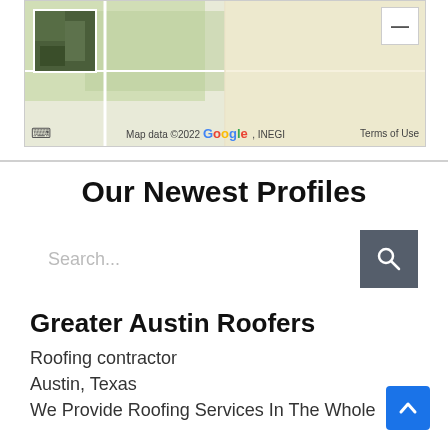[Figure (map): Google Maps view showing a location with satellite thumbnail, zoom-out button, Google logo, map data copyright 2022 Google INEGI, and Terms of Use link]
Our Newest Profiles
Search...
Greater Austin Roofers
Roofing contractor
Austin, Texas
We Provide Roofing Services In The Whole